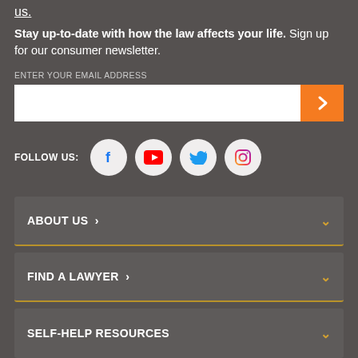us.
Stay up-to-date with how the law affects your life. Sign up for our consumer newsletter.
ENTER YOUR EMAIL ADDRESS
[Figure (other): Email input field with white text box and orange submit arrow button]
FOLLOW US: [Facebook, YouTube, Twitter, Instagram social media icons]
ABOUT US >
FIND A LAWYER >
SELF-HELP RESOURCES